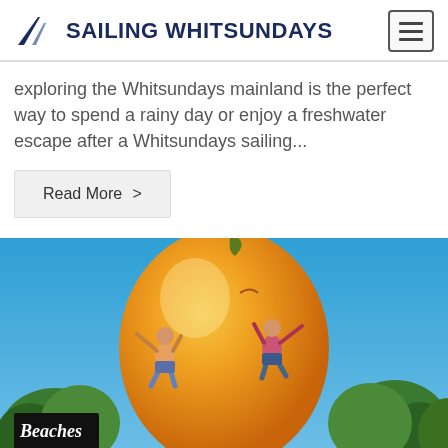SAILING WHITSUNDAYS
exploring the Whitsundays mainland is the perfect way to spend a rainy day or enjoy a freshwater escape after a Whitsundays sailing...
Read More >
[Figure (photo): Two people jumping in front of a large mango sculpture (The Big Mango) against a blue sky, with trees and a 'Beaches' sign visible in the background.]